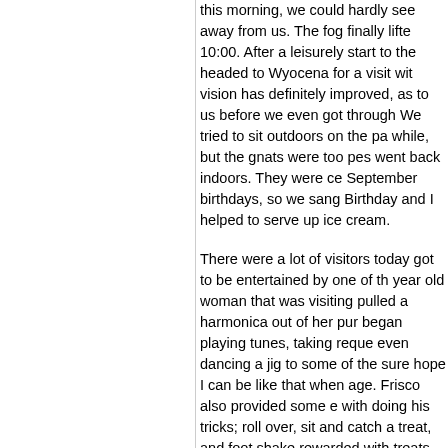this morning, we could hardly see away from us. The fog finally lifted 10:00. After a leisurely start to the headed to Wyocena for a visit with vision has definitely improved, as to us before we even got through We tried to sit outdoors on the pa while, but the gnats were too pes went back indoors. They were ce September birthdays, so we sang Birthday and I helped to serve up ice cream.
There were a lot of visitors today got to be entertained by one of th year old woman that was visiting pulled a harmonica out of her pur began playing tunes, taking reque even dancing a jig to some of the sure hope I can be like that when age. Frisco also provided some e with doing his tricks; roll over, sit and catch a treat, and foot shake rewarded with treats and lots of a
Friday, September 25 t